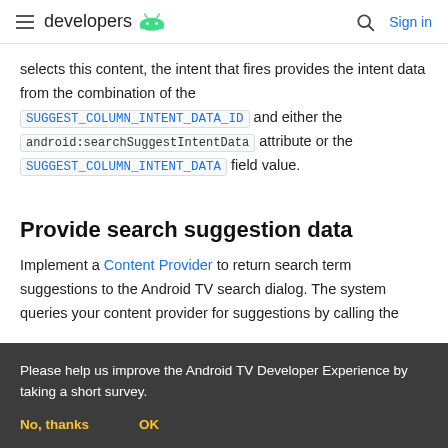developers
selects this content, the intent that fires provides the intent data from the combination of the SUGGEST_COLUMN_INTENT_DATA_ID and either the android:searchSuggestIntentData attribute or the SUGGEST_COLUMN_INTENT_DATA field value.
Provide search suggestion data
Implement a Content Provider to return search term suggestions to the Android TV search dialog. The system queries your content provider for suggestions by calling the
Please help us improve the Android TV Developer Experience by taking a short survey.
No, thanks   OK